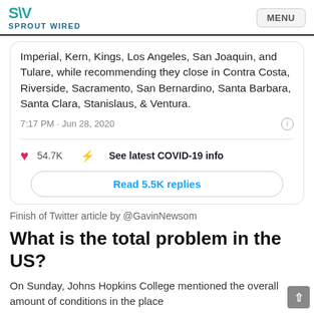SPROUT WIRED | MENU
[Figure (screenshot): Tweet card showing partial text: 'Imperial, Kern, Kings, Los Angeles, San Joaquin, and Tulare, while recommending they close in Contra Costa, Riverside, Sacramento, San Bernardino, Santa Barbara, Santa Clara, Stanislaus, & Ventura.' Time: 7:17 PM · Jun 28, 2020. Likes: 54.7K. See latest COVID-19 info. Read 5.5K replies button.]
Finish of Twitter article by @GavinNewsom
What is the total problem in the US?
On Sunday, Johns Hopkins College mentioned the overall amount of conditions in the place